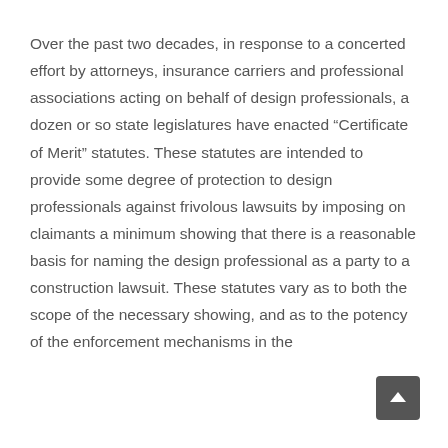Over the past two decades, in response to a concerted effort by attorneys, insurance carriers and professional associations acting on behalf of design professionals, a dozen or so state legislatures have enacted “Certificate of Merit” statutes. These statutes are intended to provide some degree of protection to design professionals against frivolous lawsuits by imposing on claimants a minimum showing that there is a reasonable basis for naming the design professional as a party to a construction lawsuit. These statutes vary as to both the scope of the necessary showing, and as to the potency of the enforcement mechanisms in the